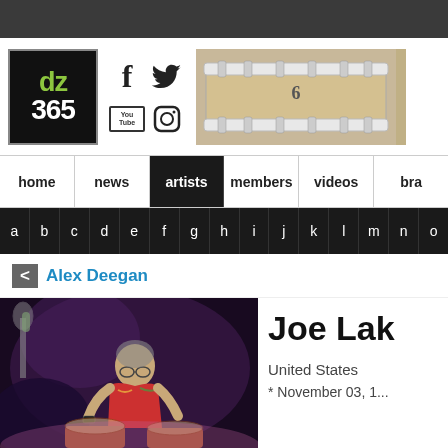dz365 - DrumZone 365 website header with logo, social media icons, and drum photo
[Figure (screenshot): Navigation menu showing: home, news, artists (active/selected), members, videos, bra...]
[Figure (screenshot): Alpha sub-navigation bar showing letters a b c d e f g h i j k l m n o]
< Alex Deegan
[Figure (photo): Photo of Joe Labarbera (partially shown name) playing congas, bending over the drums on stage with dramatic lighting]
Joe Lak
United States
* November 03, 1...